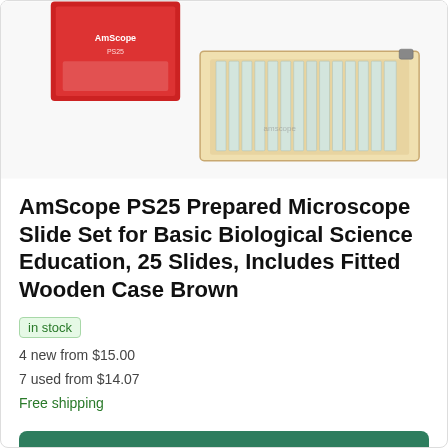[Figure (photo): Product photo showing AmScope PS25 microscope slide set with wooden case open displaying slides, and red product box in upper left corner]
AmScope PS25 Prepared Microscope Slide Set for Basic Biological Science Education, 25 Slides, Includes Fitted Wooden Case Brown
in stock
4 new from $15.00
7 used from $14.07
Free shipping
See on Amazon